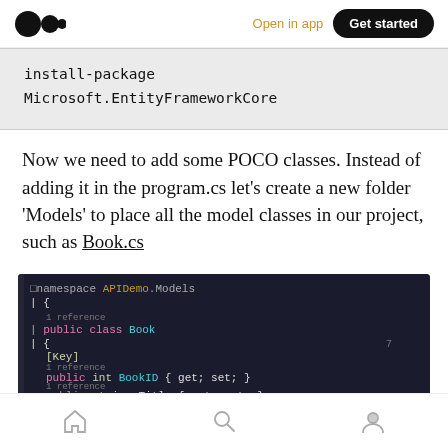Medium logo | Open in app | Get started
install-package
Microsoft.EntityFrameworkCore
Now we need to add some POCO classes. Instead of adding it in the program.cs let’s create a new folder ‘Models’ to place all the model classes in our project, such as Book.cs
[Figure (screenshot): Code editor screenshot showing C# class definition: namespace APIDemoModels with public class Book, properties [Key] public int BookID { get; set; } and public string Title { get; set; }]
Home | Search | Profile